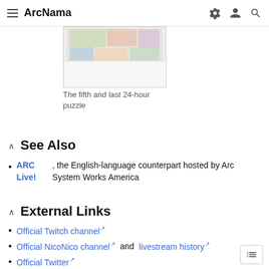ArcNama
[Figure (photo): Partial view of a colorful puzzle image, shown as a thumbnail in a bordered box]
The fifth and last 24-hour puzzle
See Also
ARC Live!, the English-language counterpart hosted by Arc System Works America
External Links
Official Twitch channel
Official NicoNico channel and livestream history
Official Twitter